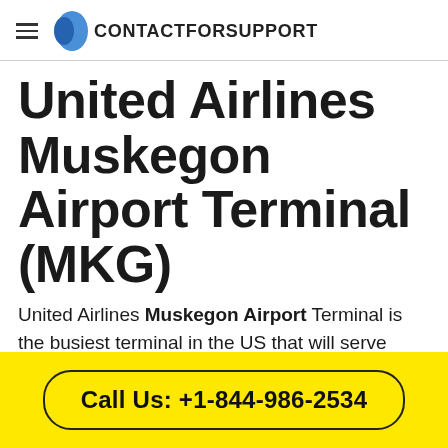CONTACTFORSUPPORT
United Airlines Muskegon Airport Terminal (MKG)
United Airlines Muskegon Airport Terminal is the busiest terminal in the US that will serve more than
Call Us: +1-844-986-2534